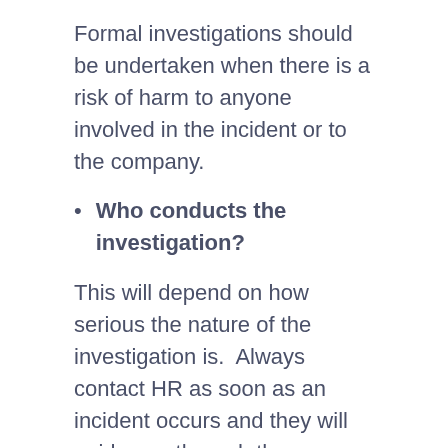Formal investigations should be undertaken when there is a risk of harm to anyone involved in the incident or to the company.
Who conducts the investigation?
This will depend on how serious the nature of the investigation is. Always contact HR as soon as an incident occurs and they will guide you through the process.
All parties being interviewed must be aware they need to keep all discussions